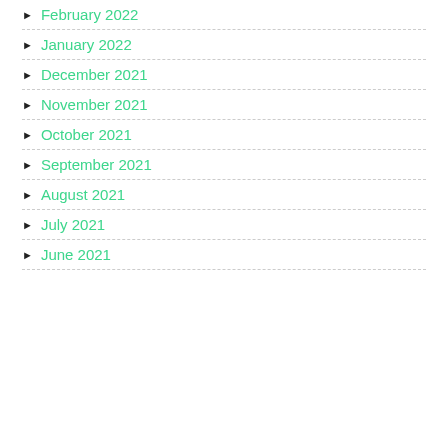February 2022
January 2022
December 2021
November 2021
October 2021
September 2021
August 2021
July 2021
June 2021